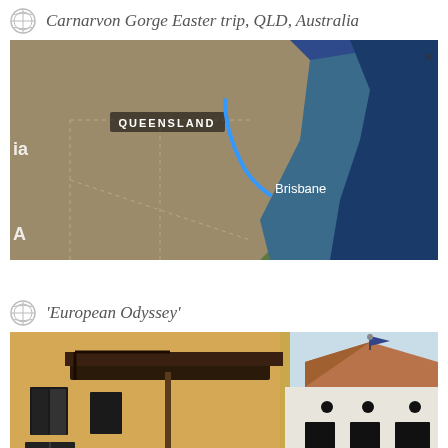Carnarvon Gorge Easter trip, QLD, Australia
[Figure (map): Satellite map showing Queensland, Australia with Brisbane labeled and a blue curved route line drawn on the map. An 'x' close button is visible in the top right corner.]
'European Odyssey'
[Figure (photo): Photograph of European-style architecture showing the side of an old ochre-yellow building with dark shuttered windows and iron brackets, alongside a white marble building with a tiled pyramidal roof topped by a flag, under a pale blue sky.]